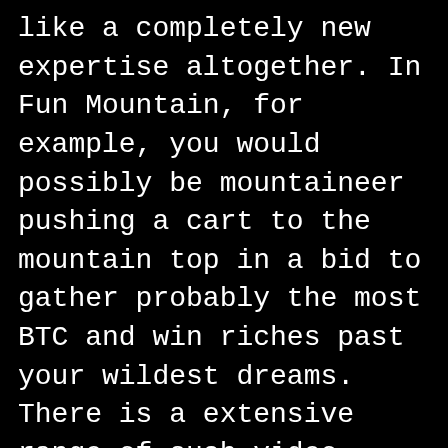like a completely new expertise altogether. In Fun Mountain, for example, you would possibly be mountaineer pushing a cart to the mountain top in a bid to gather probably the most BTC and win riches past your wildest dreams. There is a extensive range of such video games, and FunFair has made a promise to maintain innovating this expertise. https://dienchan.com.au/community/profile/casinoen15377625/ Casino